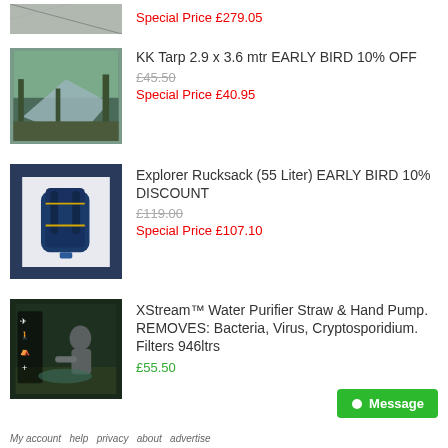Special Price £279.05
[Figure (photo): Partial view of a product image at top of page (cropped)]
KK Tarp 2.9 x 3.6 mtr EARLY BIRD 10% OFF
[Figure (photo): Tarp shelter strung between trees in a forest setting]
£45.50
Special Price £40.95
Explorer Rucksack (55 Liter) EARLY BIRD 10% DISCOUNT
[Figure (photo): Blue explorer rucksack/backpack with yellow accents]
£119.00
Special Price £107.10
XStream™ Water Purifier Straw & Hand Pump. REMOVES: Bacteria, Virus, Cryptosporidium. Filters 946ltrs
[Figure (photo): Person using water purifier straw/pump near a stream in forest, product has icons for travel, hiking, camping, first aid]
£55.50
Message